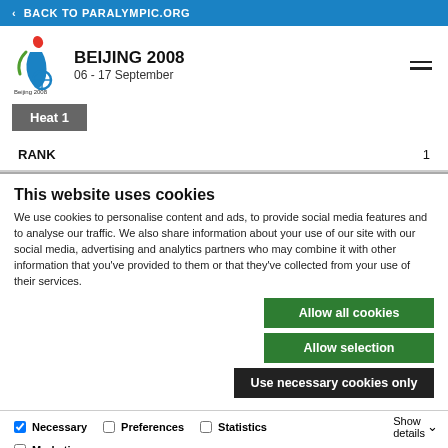< BACK TO PARALYMPIC.ORG
BEIJING 2008
06 - 17 September
Heat 1
RANK	1
This website uses cookies
We use cookies to personalise content and ads, to provide social media features and to analyse our traffic. We also share information about your use of our site with our social media, advertising and analytics partners who may combine it with other information that you've provided to them or that they've collected from your use of their services.
Allow all cookies
Allow selection
Use necessary cookies only
Necessary	Preferences	Statistics	Show details
Marketing
RANK